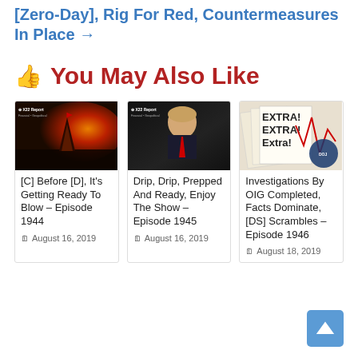[Zero-Day], Rig For Red, Countermeasures In Place →
👍 You May Also Like
[Figure (photo): X22 Report thumbnail with volcanic orange and red landscape]
[C] Before [D], It's Getting Ready To Blow – Episode 1944
August 16, 2019
[Figure (photo): X22 Report thumbnail showing Donald Trump in dark background with red tie]
Drip, Drip, Prepped And Ready, Enjoy The Show – Episode 1945
August 16, 2019
[Figure (photo): Newspaper EXTRA EXTRA EXTRA headline with DOJ seal]
Investigations By OIG Completed, Facts Dominate, [DS] Scrambles – Episode 1946
August 18, 2019